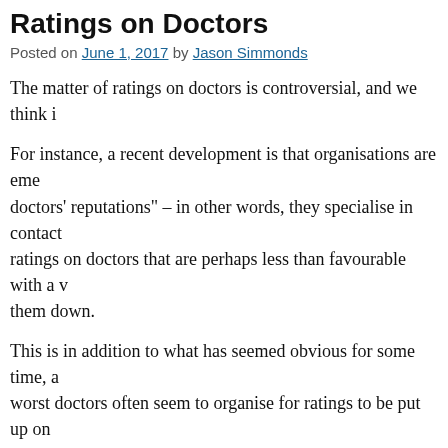Ratings on Doctors
Posted on June 1, 2017 by Jason Simmonds
The matter of ratings on doctors is controversial, and we think i
For instance, a recent development is that organisations are eme... doctors' reputations" – in other words, they specialise in contact... ratings on doctors that are perhaps less than favourable with a v... them down.
This is in addition to what has seemed obvious for some time, a... worst doctors often seem to organise for ratings to be put up on... perhaps the best doctors in the world.
We will write more on this in due course – we feel as though we
In the meantime, we strongly advocate doing this with doctors y... Google search on, say, "Dr AAA BBBB ratemds." It will only ta... any ratings on the RateMDs.com website on this doctor, you wi... the lines," but you may pick up something that is useful one w...